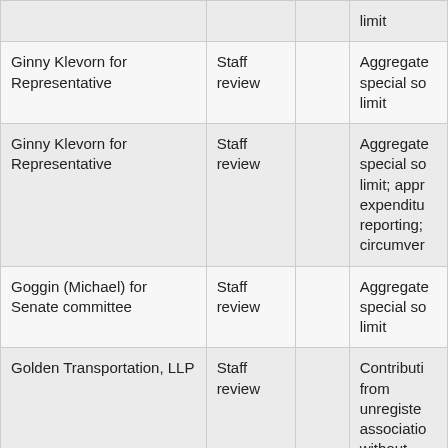|  |  |  |  |
| --- | --- | --- | --- |
|  |  |  | limit |
| Ginny Klevorn for Representative | Staff review |  | Aggregate special so limit |
| Ginny Klevorn for Representative | Staff review |  | Aggregate special so limit; appr expenditu reporting; circumver |
| Goggin (Michael) for Senate committee | Staff review |  | Aggregate special so limit |
| Golden Transportation, LLP | Staff review |  | Contributi from unregiste associatio without required disclosure |
| Golden's Deli Inc. | Staff review |  | Contributi from unregiste |